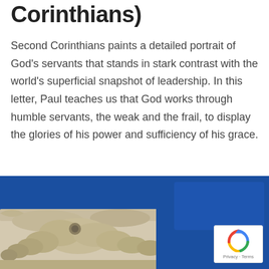Corinthians)
Second Corinthians paints a detailed portrait of God's servants that stands in stark contrast with the world's superficial snapshot of leadership. In this letter, Paul teaches us that God works through humble servants, the weak and the frail, to display the glories of his power and sufficiency of his grace.
[Figure (photo): A close-up photograph of an ornate Corinthian column capital (architectural detail with acanthus leaf carvings) in beige/cream stone, set against a deep royal blue background. A small reCAPTCHA privacy badge is visible in the lower right corner.]